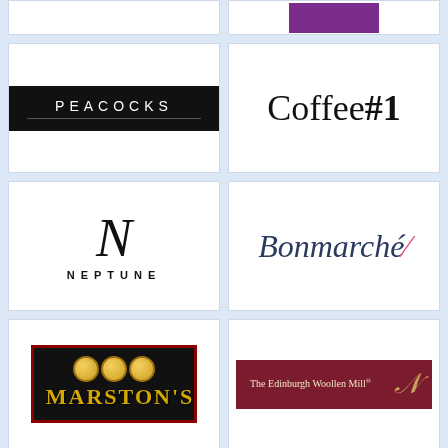[Figure (logo): Peacocks retail brand logo — white text on black background with decorative underline]
[Figure (logo): Coffee#1 brand logo in large serif font]
[Figure (logo): Neptune furniture brand logo with script N and spaced-out NEPTUNE text]
[Figure (logo): Bonmarche retail brand logo in dark blue italic serif with pink accent mark]
[Figure (logo): Marston's brewery brand logo — gold text on black with red border and gold medallion circles]
[Figure (logo): The Edinburgh Woollen Mill brand logo — cream text on dark red background]
View all advertisers »